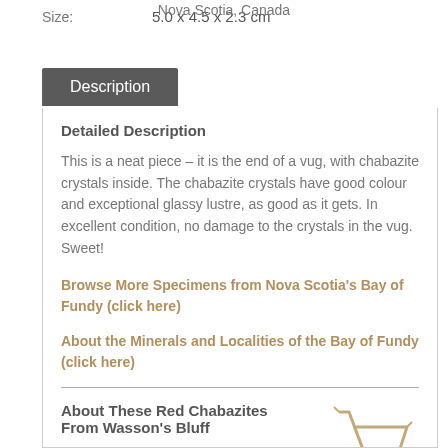Nova Scotia, Canada
Size:   5.0 x 4.5 x 2.3 cm
Description
Detailed Description
This is a neat piece – it is the end of a vug, with chabazite crystals inside. The chabazite crystals have good colour and exceptional glassy lustre, as good as it gets. In excellent condition, no damage to the crystals in the vug. Sweet!
Browse More Specimens from Nova Scotia's Bay of Fundy (click here)
About the Minerals and Localities of the Bay of Fundy (click here)
About These Red Chabazites From Wasson's Bluff
In one relatively small zone at Wasson's Bluff, the chabazite crystals are a particular dark red hue... more